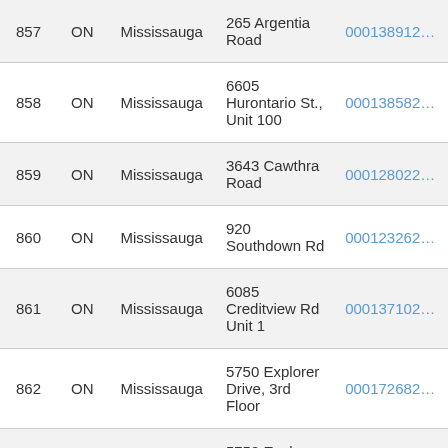| # | Province | City | Address | ID |
| --- | --- | --- | --- | --- |
| 857 | ON | Mississauga | 265 Argentia Road | 000138912… |
| 858 | ON | Mississauga | 6605 Hurontario St., Unit 100 | 000138582… |
| 859 | ON | Mississauga | 3643 Cawthra Road | 000128022… |
| 860 | ON | Mississauga | 920 Southdown Rd | 000123262… |
| 861 | ON | Mississauga | 6085 Creditview Rd Unit 1 | 000137102… |
| 862 | ON | Mississauga | 5750 Explorer Drive, 3rd Floor | 000172682… |
| 863 | ON | Mississauga | 5750 Explorer Drive, 3rd Floor | 000176892… |